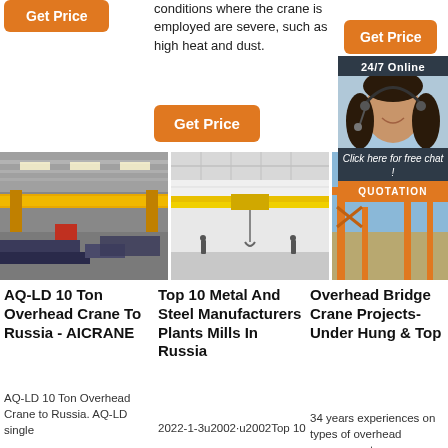conditions where the crane is employed are severe, such as high heat and dust.
[Figure (photo): Orange Get Price button top left]
[Figure (photo): Orange Get Price button top right]
[Figure (photo): Orange Get Price button center]
[Figure (photo): 24/7 Online chat banner with customer service representative]
[Figure (photo): Indoor overhead crane in a steel plant facility - AQ-LD 10 Ton Overhead Crane to Russia]
[Figure (photo): Yellow overhead bridge crane in a white industrial building]
[Figure (photo): Orange gantry crane outdoors]
AQ-LD 10 Ton Overhead Crane To Russia - AICRANE
AQ-LD 10 Ton Overhead Crane to Russia. AQ-LD single
Top 10 Metal And Steel Manufacturers Plants Mills In Russia
2022-1-3u2002·u2002Top 10
Overhead Bridge Crane Projects- Under Hung & Top
34 years experiences on types of overhead cranes, gantry